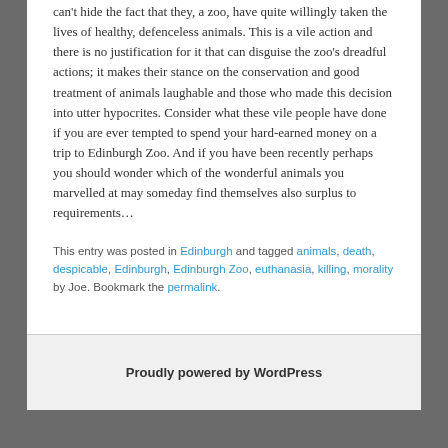can't hide the fact that they, a zoo, have quite willingly taken the lives of healthy, defenceless animals. This is a vile action and there is no justification for it that can disguise the zoo's dreadful actions; it makes their stance on the conservation and good treatment of animals laughable and those who made this decision into utter hypocrites. Consider what these vile people have done if you are ever tempted to spend your hard-earned money on a trip to Edinburgh Zoo. And if you have been recently perhaps you should wonder which of the wonderful animals you marvelled at may someday find themselves also surplus to requirements…
This entry was posted in Edinburgh and tagged animals, death, despicable, Edinburgh, Edinburgh Zoo, euthanasia, killing, morality by Joe. Bookmark the permalink.
Proudly powered by WordPress